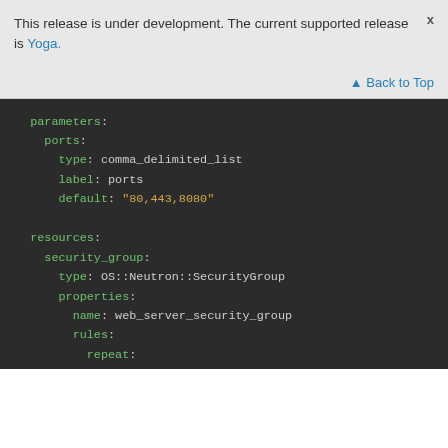This release is under development. The current supported release is Yoga.
Back to Top
[Figure (screenshot): YAML code block showing parameters and resources configuration with security group, ports, repeat/for_each, template with protocol, port_range_min, port_range_max on dark background]